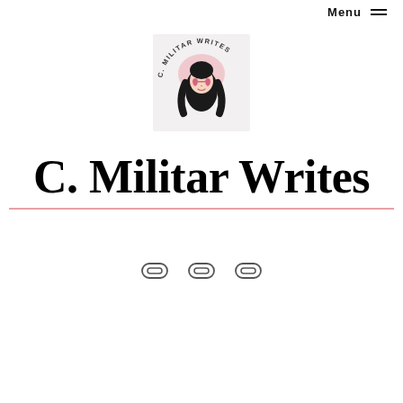Menu
[Figure (logo): C. Militar Writes circular logo: illustration of a woman with long dark hair wearing heart-shaped glasses, surrounded by a pink halo, with text 'C. MILITAR WRITES' arched around the top on a light grey square background.]
C. Militar Writes
[Figure (other): Three link/chain icon symbols arranged horizontally, representing social media or navigation links.]